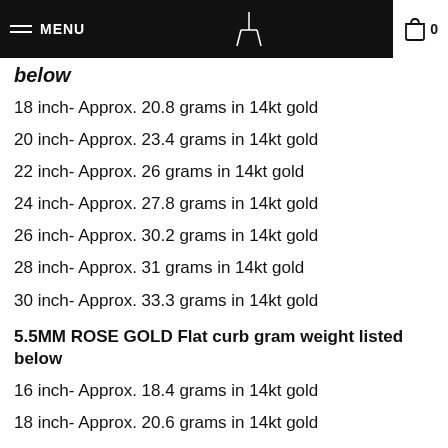MENU
below
18 inch- Approx. 20.8 grams in 14kt gold
20 inch- Approx. 23.4 grams in 14kt gold
22 inch- Approx. 26 grams in 14kt gold
24 inch- Approx. 27.8 grams in 14kt gold
26 inch- Approx. 30.2 grams in 14kt gold
28 inch- Approx. 31 grams in 14kt gold
30 inch- Approx. 33.3 grams in 14kt gold
5.5MM ROSE GOLD Flat curb gram weight listed below
16 inch- Approx. 18.4 grams in 14kt gold
18 inch- Approx. 20.6 grams in 14kt gold